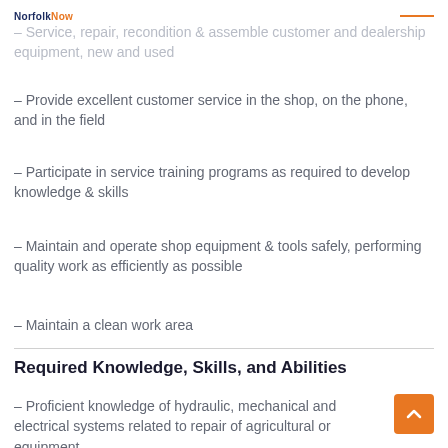NorfolkNow
- Service, repair, recondition & assemble customer and dealership equipment, new and used
- Provide excellent customer service in the shop, on the phone, and in the field
- Participate in service training programs as required to develop knowledge & skills
- Maintain and operate shop equipment & tools safely, performing quality work as efficiently as possible
- Maintain a clean work area
Required Knowledge, Skills, and Abilities
- Proficient knowledge of hydraulic, mechanical and electrical systems related to repair of agricultural or equipment